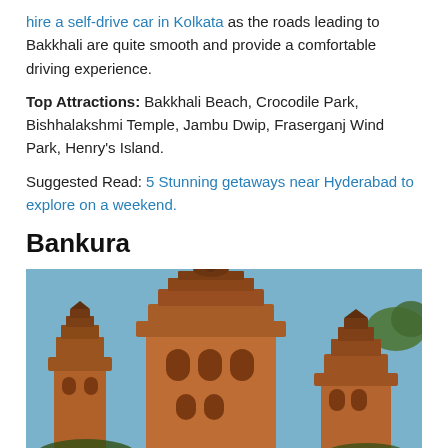hire a self-drive car in Kolkata as the roads leading to Bakkhali are quite smooth and provide a comfortable driving experience.
Top Attractions: Bakkhali Beach, Crocodile Park, Bishhalakshmi Temple, Jambu Dwip, Fraserganj Wind Park, Henry's Island.
Suggested Read: 5 Stunning getaways near Hyderabad to explore on a weekend.
Bankura
[Figure (photo): Photo of ancient terracotta temple towers in Bankura against a blue sky, showing ornate brick architecture with arched windows and tiered rooftops surrounded by trees.]